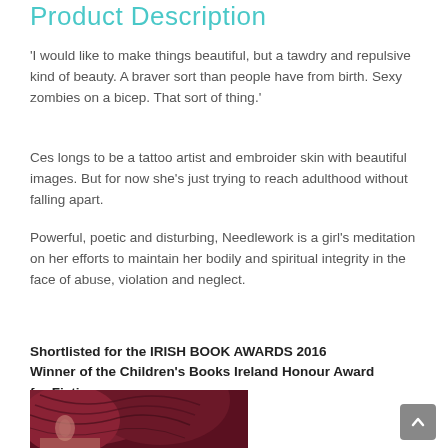Product Description
‘I would like to make things beautiful, but a tawdry and repulsive kind of beauty. A braver sort than people have from birth. Sexy zombies on a bicep. That sort of thing.’
Ces longs to be a tattoo artist and embroider skin with beautiful images. But for now she’s just trying to reach adulthood without falling apart.
Powerful, poetic and disturbing, Needlework is a girl’s meditation on her efforts to maintain her bodily and spiritual integrity in the face of abuse, violation and neglect.
Shortlisted for the IRISH BOOK AWARDS 2016
Winner of the Children’s Books Ireland Honour Award for Fiction
[Figure (photo): Close-up photo of a person with dark auburn/maroon wavy hair, partially visible face and ear.]